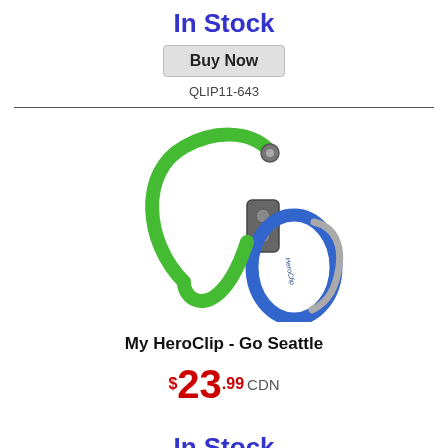In Stock
Buy Now
QLIP11-643
[Figure (photo): A carabiner clip with a green hook on top and a blue oval carabiner on the bottom, connected by a silver mechanism. The product is called My HeroClip - Go Seattle.]
My HeroClip - Go Seattle
$23.99 CDN
In Stock
Buy Now